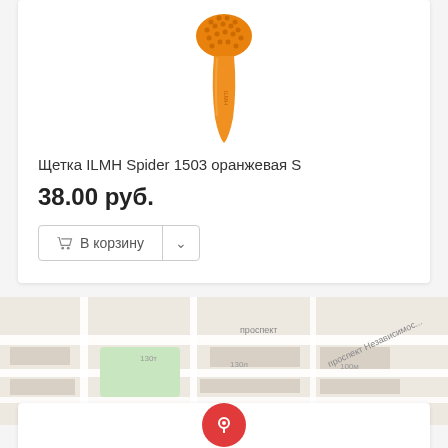[Figure (photo): Orange ILMH Spider 1503 hair brush with orange/amber handle and bristles, shown on white background]
Щетка ILMH Spider 1503 оранжевая S
38.00 руб.
В корзину
[Figure (map): Street map showing city blocks and roads, light colored with green park area and road labels in Russian]
[Figure (other): Red circular location pin icon]
Информация
Гарантия и возврат
Контактная информация